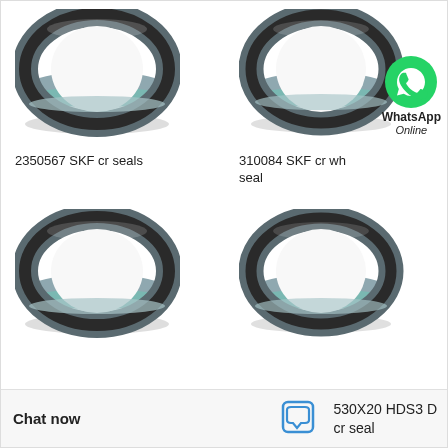[Figure (photo): Four circular SKF cr seal rings arranged in a 2x2 grid. Each seal is metallic with dark rubber inner ring and silvery-gray outer ring with teal/green accent edge. Upper left, upper right, lower left, lower right seals shown.]
2350567 SKF cr seals
310084 SKF cr wheel seal
[Figure (logo): WhatsApp green phone icon with text 'WhatsApp Online']
Chat now
530X20 HDS3 D cr seal